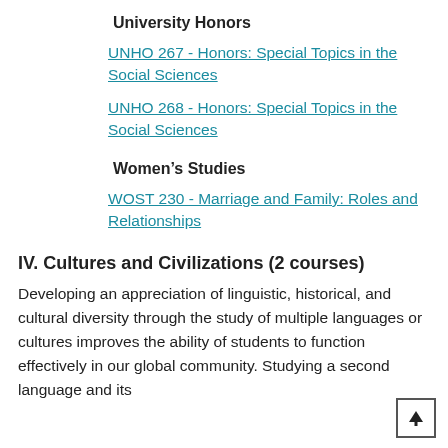University Honors
UNHO 267 - Honors: Special Topics in the Social Sciences
UNHO 268 - Honors: Special Topics in the Social Sciences
Women’s Studies
WOST 230 - Marriage and Family: Roles and Relationships
IV. Cultures and Civilizations (2 courses)
Developing an appreciation of linguistic, historical, and cultural diversity through the study of multiple languages or cultures improves the ability of students to function effectively in our global community. Studying a second language and its